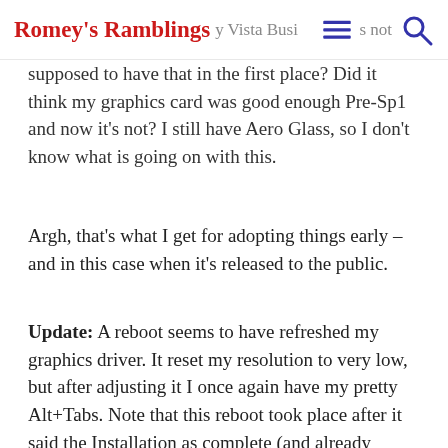Romey's Ramblings  y Vista Busi  s not supposed to have that in the first place?  Did it
think my graphics card was good enough Pre-Sp1 and now it's not?  I still have Aero Glass, so I don't know what is going on with this.
Argh, that's what I get for adopting things early – and in this case when it's released to the public.
Update: A reboot seems to have refreshed my graphics driver.  It reset my resolution to very low, but after adjusting it I once again have my pretty Alt+Tabs.  Note that this reboot took place after it said the Installation as complete (and already rebooted my system).
Update2: This seems to be rooted within how windows switches back and forth between